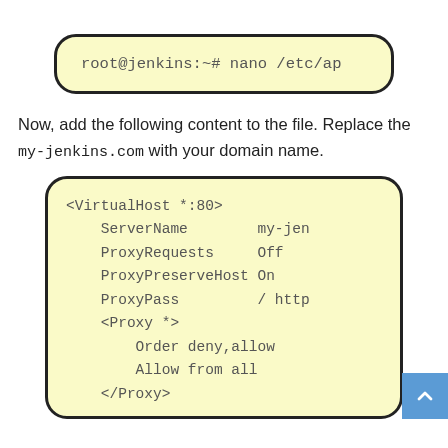[Figure (screenshot): Code block with yellow background and rounded border showing: root@jenkins:~# nano /etc/ap]
Now, add the following content to the file. Replace the my-jenkins.com with your domain name.
[Figure (screenshot): Code block with yellow background and rounded border showing Apache VirtualHost configuration: <VirtualHost *:80>, ServerName my-jen, ProxyRequests Off, ProxyPreserveHost On, ProxyPass / http, <Proxy *>, Order deny,allow, Allow from all, </Proxy>]